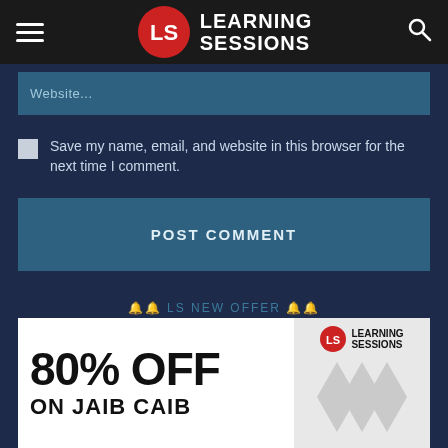Learning Sessions
Website...
Save my name, email, and website in this browser for the next time I comment.
POST COMMENT
🔔🔔 LS NEW OFFER 🔔🔔
[Figure (infographic): Learning Sessions promotional banner showing '80% OFF ON JAIB CAIB' text with LS logo in top right corner]